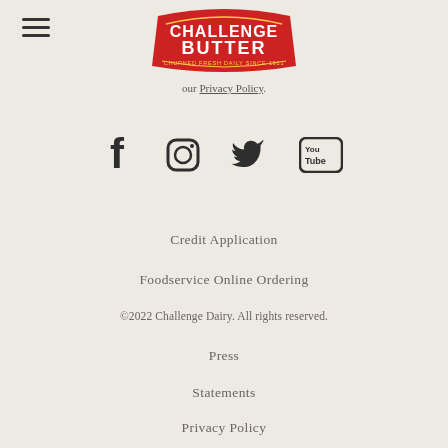[Figure (logo): Challenge Butter logo - red banner with white text reading CHALLENGE BUTTER, CHURNED FRESH DAILY SINCE 1911]
our Privacy Policy.
[Figure (infographic): Social media icons: Facebook, Instagram, Twitter, YouTube]
Credit Application
Foodservice Online Ordering
©2022 Challenge Dairy. All rights reserved.
Press
Statements
Privacy Policy